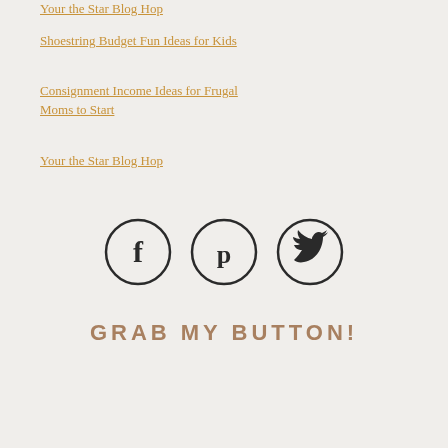Your the Star Blog Hop
Shoestring Budget Fun Ideas for Kids
Consignment Income Ideas for Frugal Moms to Start
Your the Star Blog Hop
[Figure (illustration): Three social media icons in circles: Facebook (f), Pinterest (p), Twitter (bird), arranged horizontally]
GRAB MY BUTTON!